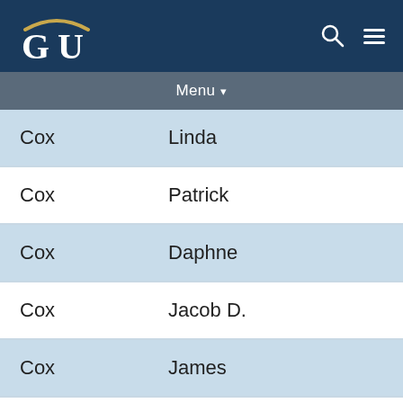[Figure (logo): Georgetown University GU logo in white/gold on navy background]
Menu
| Last Name | First Name |
| --- | --- |
| Cox | Linda |
| Cox | Patrick |
| Cox | Daphne |
| Cox | Jacob D. |
| Cox | James |
| Cox | Judy |